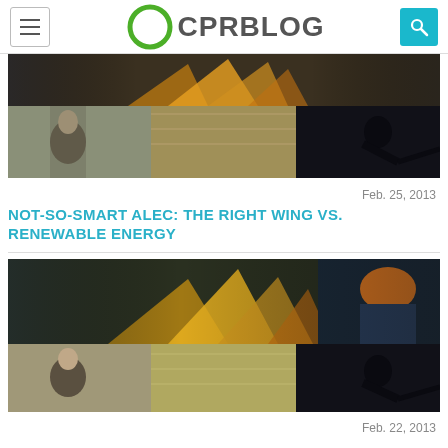CPR BLOG
[Figure (photo): Collage of workers in industrial settings: sparks flying from metalwork on top, and three panels below showing a woman working, a warehouse worker, and a silhouette using a drill]
Feb. 25, 2013
NOT-SO-SMART ALEC: THE RIGHT WING VS. RENEWABLE ENERGY
[Figure (photo): Second collage of workers in industrial settings: sparks flying with worker in orange hard hat on top, and three panels below showing a woman working, a warehouse worker, and a silhouette using a drill]
Feb. 22, 2013